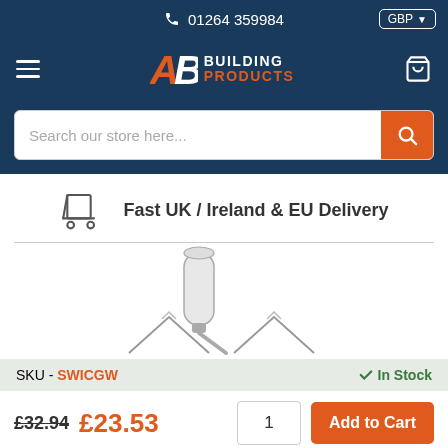01264 359984  GBP
[Figure (logo): AB Building Products logo with hamburger menu and cart icon on dark blue navigation bar]
Search our store here...
Fast UK / Ireland & EU Delivery
[Figure (illustration): Line drawing of a caulk gun/sealant tube being applied to roof ridge tiles]
SKU - SWICGW   ✓ In Stock
£32.94  £23.53   1   Add to Cart